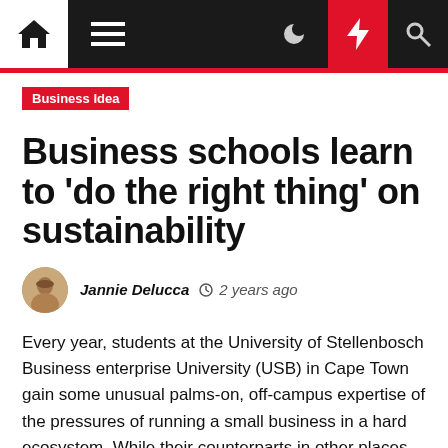Navigation bar with home, menu, moon, lightning, and search icons
Business Idea
Business schools learn to 'do the right thing' on sustainability
Jannie Delucca  2 years ago
Every year, students at the University of Stellenbosch Business enterprise University (USB) in Cape Town gain some unusual palms-on, off-campus expertise of the pressures of running a small business in a hard ecosystem. While their counterparts in other places often have out